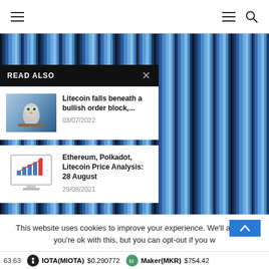Navigation bar with hamburger menu and search icon
[Figure (photo): Blue and black vertical striped abstract background filling right portion of page]
READ ALSO
[Figure (photo): Thumbnail of an owl with green eyes in a winter scene]
Litecoin falls beneath a bullish order block,...
03/07/2022
[Figure (screenshot): Thumbnail of a computer monitor displaying a bar/line chart with growth trend]
Ethereum, Polkadot, Litecoin Price Analysis: 28 August
29/08/2021
This website uses cookies to improve your experience. We'll assume you're ok with this, but you can opt-out if you w
63.63   IOTA(MIOTA) $0.290772   Maker(MKR) $754.42